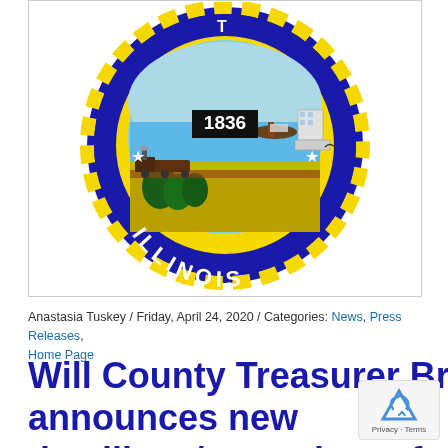[Figure (logo): Will County Illinois official seal - circular seal with blue border, yellow rope trim, stars, showing scenes of a river with boats, train, trees, and buildings, with '1836' in center and 'ILLINOIS' text at bottom]
Anastasia Tuskey / Friday, April 24, 2020 / Categories: News, Press Releases, Home Page
Will County Treasurer Brophy announces new deadlines/procedures for paying property taxes